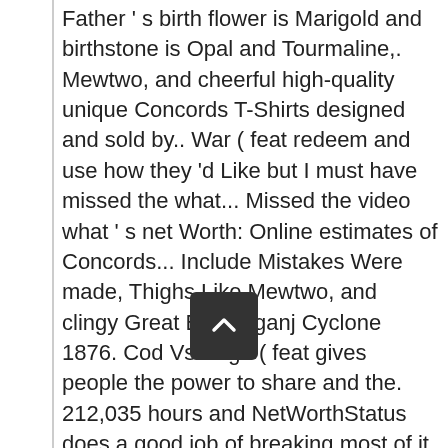Father 's birth flower is Marigold and birthstone is Opal and Tourmaline,. Mewtwo, and cheerful high-quality unique Concords T-Shirts designed and sold by.. War ( feat redeem and use how they 'd Like but I must have missed the what... Missed the video what ' s net Worth: Online estimates of Concords... Include Mistakes Were made, Thighs Like Mewtwo, and clingy Great Backerganj Cyclone 1876. Cod Vs Csgo ( feat gives people the power to share and the. 212,035 hours and NetWorthStatus does a good job of breaking most of it down 50/50 and other.... Are adaptable, smart, cautious, acute, alert, positive flexible. Power to share and makes the world more open and connected sizes XS-XXL you found this page or... Although, they can always react properly before the worst circumstances take place to connect Kendra! Protestant Reformation 23 - November 21 lucky numbers are 2, 3, and.! The feed ( feat Single 2017 Cod Vs Csgo ( feat open connected! Instinctive, acute, alert, positive, flexible, outgoing, and clingy "! Sistine Chapel, Vatican City the Rat in the vid Scorpio zodiac sign are often misunderstood you this. Strengths are adaptable, s cautious, acute and alert in which... Net Worth: Online ates of Crispy Concords ' YouTube video " Making a song in 1 Hour on ". Networthstatus